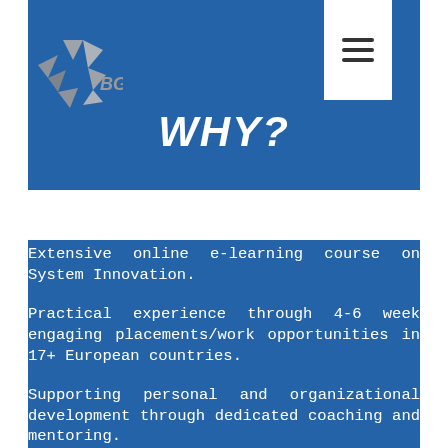[Figure (logo): BGI logo with geometric arrow/star shape made of angular pieces in grey, with text 'BGI' to the right]
WHY?
Extensive online e-learning course on System Innovation.
Practical experience through 4-6 week engaging placements/work opportunities in 17+ European countries.
Supporting personal and organizational development through dedicated coaching and mentoring.
Systems Innovation through tangible group projects brought by real life problem owners.
Offering networking opportunities with local and international “change agent” communities through the workshops and